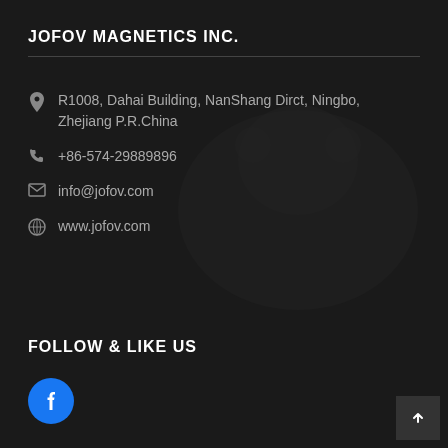JOFOV MAGNETICS INC.
R1008, Dahai Building, NanShang Dirct, Ningbo, Zhejiang P.R.China
+86-574-29889896
info@jofov.com
www.jofov.com
FOLLOW & LIKE US
[Figure (logo): Facebook social media icon button - blue circle with white Facebook 'f' logo]